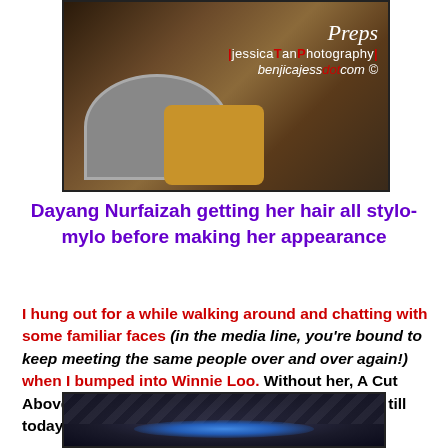[Figure (photo): Photo of Dayang Nurfaizah getting her hair done, with a styling chair visible and leopard-print accessories. Watermark reads: Preps | jessicaTanPhotography | benjicajessdot.com ©]
Dayang Nurfaizah getting her hair all stylo-mylo before making her appearance
I hung out for a while walking around and chatting with some familiar faces (in the media line, you're bound to keep meeting the same people over and over again!) when I bumped into Winnie Loo. Without her, A Cut Above wouldn't have been proudly standing here till today.
[Figure (photo): Partial photo at bottom of page showing dark background with blue glowing light, appears to be a salon/event equipment detail]